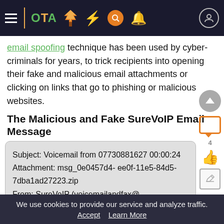OTA navigation bar with hamburger menu, logo, tree icon, bolt icon, search icon, bell icon, user icon
email spoofing technique has been used by cyber-criminals for years, to trick recipients into opening their fake and malicious email attachments or clicking on links that go to phishing or malicious websites.
The Malicious and Fake SureVoIP Email Message
[Figure (screenshot): Screenshot of a fake SureVoIP email showing: Subject: Voicemail from 07730881627 00:00:24, Attachment: msg_0e0457d4- ee0f-11e5-84d5-7dba1ad27223.zip, From: SureVoIP (voicemailandfax@ surevoip.com), Message From "07730881627" 07730881627, Created: Wed, 23 Mar 2016 10:48:18 +0700, Duration: 00:00:24 (partially visible)]
We use cookies to provide our service and analyze traffic.
Accept   Learn More